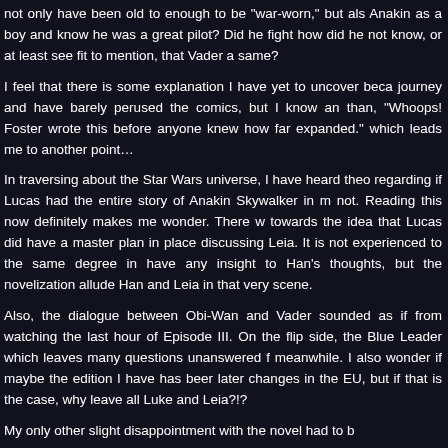not only have been old to enough to be "war-worn," but also Anakin as a boy and know he was a great pilot? Did he fight how did he not know, or at least see fit to mention, that Vader and same?
I feel that there is some explanation I have yet to uncover because journey and have barely perused the comics, but I know an than, "Whoops! Foster wrote this before anyone knew how far expanded." which leads me to another point…
In traversing about the Star Wars universe, I have heard theories regarding if Lucas had the entire story of Anakin Skywalker in mind not. Reading this now definitely makes me wonder. There were towards the idea that Lucas did have a master plan in place discussing Leia. It is not experienced to the same degree in have any insight to Han's thoughts, but the novelization alludes Han and Leia in that very scene.
Also, the dialogue between Obi-Wan and Vader sounded as if from watching the last hour of Episode III. On the flip side, there Blue Leader which leaves many questions unanswered for meanwhile. I also wonder if maybe the edition I have has been later changes in the EU, but if that is the case, why leave all Luke and Leia?!?
My only other slight disappointment with the novel had to b